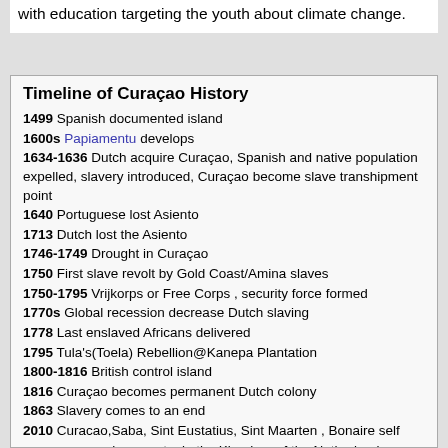with education targeting the youth about climate change.
| 1499 | Spanish documented island |
| 1600s | Papiamentu develops |
| 1634-1636 | Dutch acquire Curaçao, Spanish and native population expelled, slavery introduced, Curaçao become slave transhipment point |
| 1640 | Portuguese lost Asiento |
| 1713 | Dutch lost the Asiento |
| 1746-1749 | Drought in Curaçao |
| 1750 | First slave revolt by Gold Coast/Amina slaves |
| 1750-1795 | Vrijkorps or Free Corps , security force formed |
| 1770s | Global recession decrease Dutch slaving |
| 1778 | Last enslaved Africans delivered |
| 1795 | Tula's(Toela) Rebellion@Kanepa Plantation |
| 1800-1816 | British control island |
| 1816 | Curaçao becomes permanent Dutch colony |
| 1863 | Slavery comes to an end |
| 2010 | Curacao,Saba, Sint Eustatius, Sint Maarten , Bonaire self governing country in the Kingdom of the Netherlands |